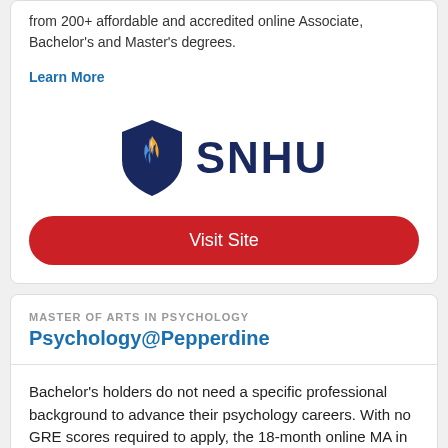from 200+ affordable and accredited online Associate, Bachelor's and Master's degrees.
Learn More
[Figure (logo): SNHU (Southern New Hampshire University) logo featuring a shield with blue, gold, and white flame design, with SNHU text in dark navy blue]
Visit Site
MASTER OF ARTS IN PSYCHOLOGY
Psychology@Pepperdine
Bachelor's holders do not need a specific professional background to advance their psychology careers. With no GRE scores required to apply, the 18-month online MA in